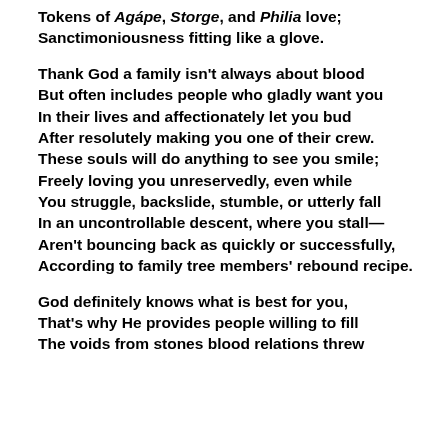Tokens of Agápe, Storge, and Philia love;
Sanctimoniousness fitting like a glove.

Thank God a family isn't always about blood
But often includes people who gladly want you
In their lives and affectionately let you bud
After resolutely making you one of their crew.
These souls will do anything to see you smile;
Freely loving you unreservedly, even while
You struggle, backslide, stumble, or utterly fall
In an uncontrollable descent, where you stall—
Aren't bouncing back as quickly or successfully,
According to family tree members' rebound recipe.

God definitely knows what is best for you,
That's why He provides people willing to fill
The voids from stones blood relations threw